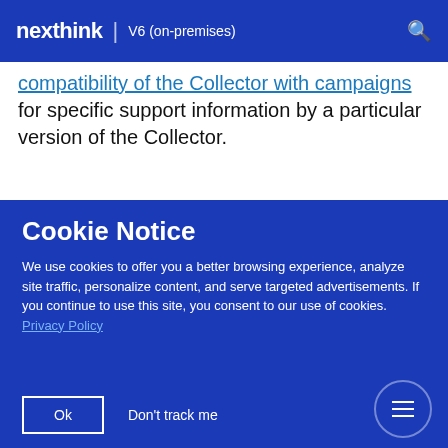nexthink | V6 (on-premises)
compatibility of the Collector with campaigns for specific support information by a particular version of the Collector.
RELATED TASK
Cookie Notice
We use cookies to offer you a better browsing experience, analyze site traffic, personalize content, and serve targeted advertisements. If you continue to use this site, you consent to our use of cookies.
Privacy Policy
Ok   Don't track me